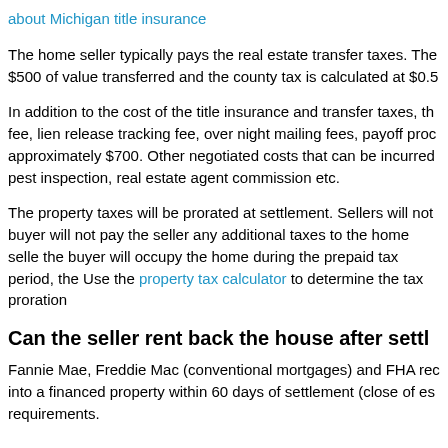about Michigan title insurance
The home seller typically pays the real estate transfer taxes. The $500 of value transferred and the county tax is calculated at $0.5
In addition to the cost of the title insurance and transfer taxes, th fee, lien release tracking fee, over night mailing fees, payoff proc approximately $700. Other negotiated costs that can be incurred pest inspection, real estate agent commission etc.
The property taxes will be prorated at settlement. Sellers will no buyer will not pay the seller any additional taxes to the home selle the buyer will occupy the home during the prepaid tax period, the Use the property tax calculator to determine the tax proration
Can the seller rent back the house after settl
Fannie Mae, Freddie Mac (conventional mortgages) and FHA rec into a financed property within 60 days of settlement (close of es requirements.